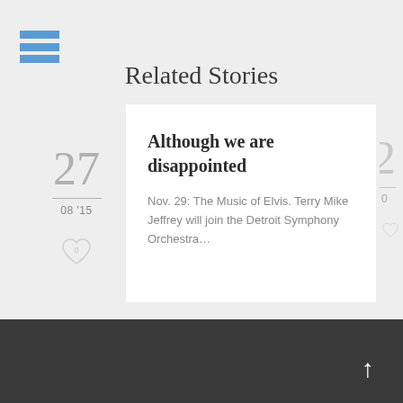[Figure (other): Hamburger menu icon with three blue horizontal bars]
Related Stories
[Figure (infographic): Article card showing date '27 / 08 15' with heart icon on left, and article content on right: title 'Although we are disappointed' and excerpt 'Nov. 29: The Music of Elvis. Terry Mike Jeffrey will join the Detroit Symphony Orchestra…']
↑